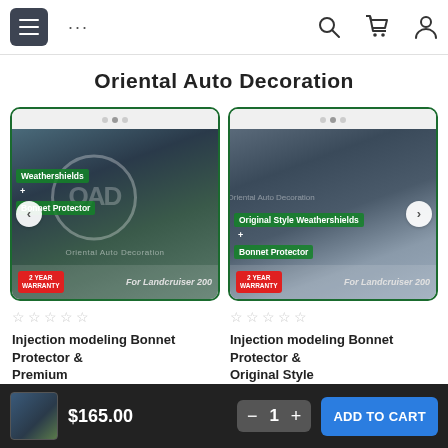Oriental Auto Decoration - Navigation bar with menu, more options, search, cart, and account icons
Oriental Auto Decoration
[Figure (screenshot): Product image 1: Toyota Landcruiser 200 with weathershields and bonnet protector. Text overlay: 'Weathershields + Bonnet Protector', 'Oriental Auto Decoration', '2 YEAR WARRANTY', 'For Landcruiser 200']
[Figure (screenshot): Product image 2: Toyota Landcruiser 200 with Original Style Weathershields and Bonnet Protector. Text overlay: 'Original Style Weathershields + Bonnet Protector', 'Oriental Auto Decoration', '2 YEAR WARRANTY', 'For Landcruiser 200']
☆☆☆☆☆
☆☆☆☆☆
Injection modeling Bonnet Protector & Premium...
Injection modeling Bonnet Protector & Original Style...
$165.00  −  1  +  ADD TO CART